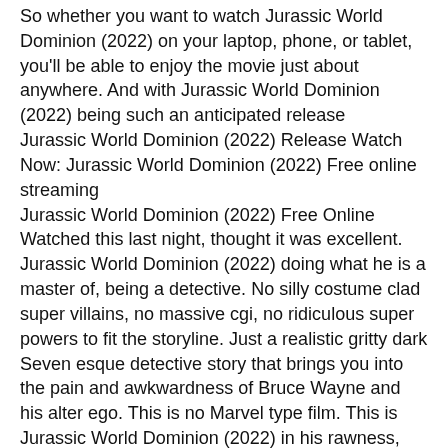So whether you want to watch Jurassic World Dominion (2022) on your laptop, phone, or tablet, you'll be able to enjoy the movie just about anywhere. And with Jurassic World Dominion (2022) being such an anticipated release
Jurassic World Dominion (2022) Release Watch Now: Jurassic World Dominion (2022) Free online streaming
Jurassic World Dominion (2022) Free Online Watched this last night, thought it was excellent. Jurassic World Dominion (2022) doing what he is a master of, being a detective. No silly costume clad super villains, no massive cgi, no ridiculous super powers to fit the storyline. Just a realistic gritty dark Seven esque detective story that brings you into the pain and awkwardness of Bruce Wayne and his alter ego. This is no Marvel type film. This is Jurassic World Dominion (2022) in his rawness, still learning how to be The Bat. Can't wait for the next